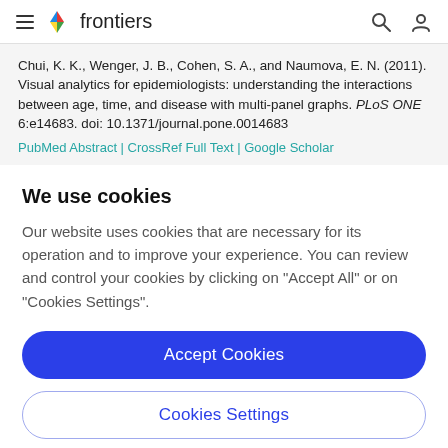frontiers
Chui, K. K., Wenger, J. B., Cohen, S. A., and Naumova, E. N. (2011). Visual analytics for epidemiologists: understanding the interactions between age, time, and disease with multi-panel graphs. PLoS ONE 6:e14683. doi: 10.1371/journal.pone.0014683
PubMed Abstract | CrossRef Full Text | Google Scholar
We use cookies
Our website uses cookies that are necessary for its operation and to improve your experience. You can review and control your cookies by clicking on "Accept All" or on "Cookies Settings".
Accept Cookies
Cookies Settings